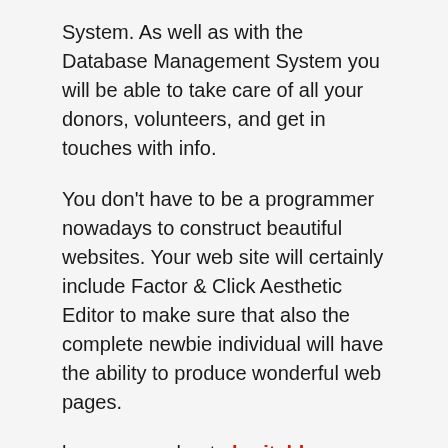System. As well as with the Database Management System you will be able to take care of all your donors, volunteers, and get in touches with info.
You don't have to be a programmer nowadays to construct beautiful websites. Your web site will certainly include Factor & Click Aesthetic Editor to make sure that also the complete newbie individual will have the ability to produce wonderful web pages.
know more about charitable non profit organization here.
< A Brief Manual To Online Soccer Betting
Soccer Players Will Appreciate Puma Tennis Shoes The Puma Grownup V1 >